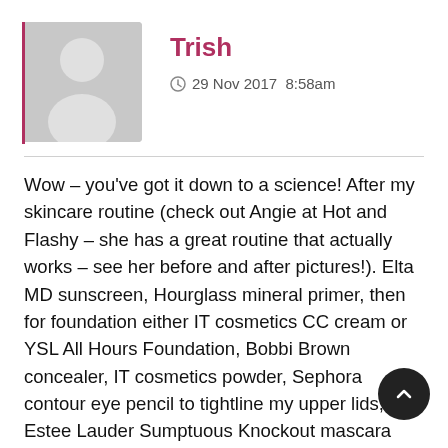[Figure (illustration): Gray avatar placeholder silhouette of a person, with a vertical pink/red left border accent]
Trish
29 Nov 2017  8:58am
Wow – you've got it down to a science! After my skincare routine (check out Angie at Hot and Flashy – she has a great routine that actually works – see her before and after pictures!). Elta MD sunscreen, Hourglass mineral primer, then for foundation either IT cosmetics CC cream or YSL All Hours Foundation, Bobbi Brown concealer, IT cosmetics powder, Sephora contour eye pencil to tightline my upper lids, Estee Lauder Sumptuous Knockout mascara (when I'm feeling fancy I'll layer Lanco Monsieur Big over it, but use the Sumptuous Knockout brush cuz that Lancome brush is whack)